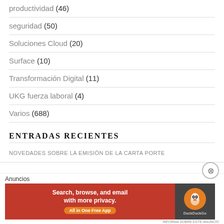productividad (46)
seguridad (50)
Soluciones Cloud (20)
Surface (10)
Transformación Digital (11)
UKG fuerza laboral (4)
Varios (688)
ENTRADAS RECIENTES
NOVEDADES SOBRE LA EMISIÓN DE LA CARTA PORTE
[Figure (other): DuckDuckGo advertisement banner: 'Search, browse, and email with more privacy. All in One Free App' with DuckDuckGo logo on dark background. Labeled 'Anuncios' at top.]